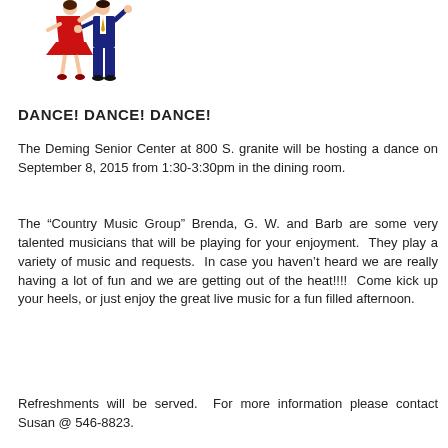[Figure (illustration): Cartoon illustration of two ballroom dancers — a woman in a red dress and a man in a dark blue suit, dancing together]
DANCE! DANCE! DANCE!
The Deming Senior Center at 800 S. granite will be hosting a dance on September 8, 2015 from 1:30-3:30pm in the dining room.
The “Country Music Group” Brenda, G. W. and Barb are some very talented musicians that will be playing for your enjoyment. They play a variety of music and requests. In case you haven’t heard we are really having a lot of fun and we are getting out of the heat!!!! Come kick up your heels, or just enjoy the great live music for a fun filled afternoon.
Refreshments will be served. For more information please contact Susan @ 546-8823.